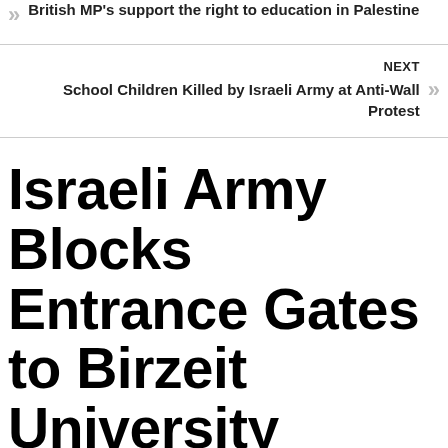British MP's support the right to education in Palestine
NEXT
School Children Killed by Israeli Army at Anti-Wall Protest
Israeli Army Blocks Entrance Gates to Birzeit University